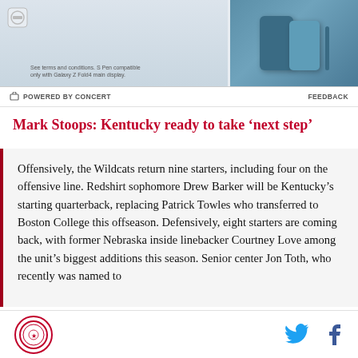[Figure (photo): Advertisement banner showing Samsung Galaxy Z Fold4 phones in teal color with S Pen, with small text reading 'See terms and conditions. S Pen compatible only with Galaxy Z Fold4 main display.']
POWERED BY CONCERT    FEEDBACK
Mark Stoops: Kentucky ready to take ‘next step’
Offensively, the Wildcats return nine starters, including four on the offensive line. Redshirt sophomore Drew Barker will be Kentucky’s starting quarterback, replacing Patrick Towles who transferred to Boston College this offseason. Defensively, eight starters are coming back, with former Nebraska inside linebacker Courtney Love among the unit’s biggest additions this season. Senior center Jon Toth, who recently was named to
[Logo] [Twitter icon] [Facebook icon]